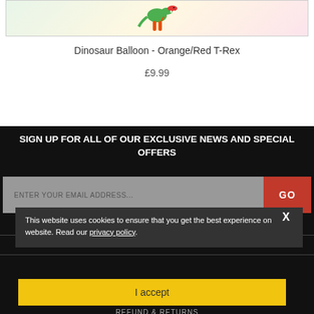[Figure (photo): Dinosaur balloon product image – Orange/Red T-Rex balloon partially visible at top]
Dinosaur Balloon - Orange/Red T-Rex
£9.99
SIGN UP FOR ALL OF OUR EXCLUSIVE NEWS AND SPECIAL OFFERS
ENTER YOUR EMAIL ADDRESS...
This website uses cookies to ensure that you get the best experience on our website. Read our privacy policy.
TERMS & CONDITIONS
PRIVACY POLICY
I accept
REFUND & RETURNS